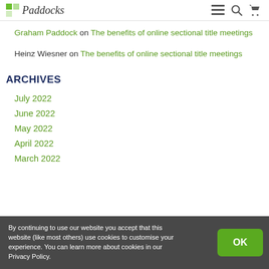Paddocks [navigation icons: menu, search, cart]
Graham Paddock on The benefits of online sectional title meetings
Heinz Wiesner on The benefits of online sectional title meetings
ARCHIVES
July 2022
June 2022
May 2022
April 2022
March 2022
By continuing to use our website you accept that this website (like most others) use cookies to customise your experience. You can learn more about cookies in our Privacy Policy.